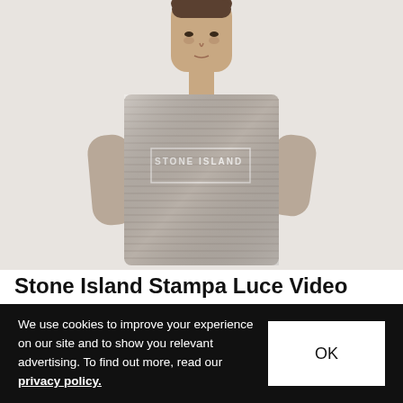[Figure (photo): A young man wearing a light grey Stone Island striped t-shirt with Stone Island logo text on the chest, against a white/light grey background. The image is cropped from the waist up.]
Stone Island Stampa Luce Video
Always on the cutting edge in terms of fabrics and construction, popular Italian sportswear brand
We use cookies to improve your experience on our site and to show you relevant advertising. To find out more, read our privacy policy.